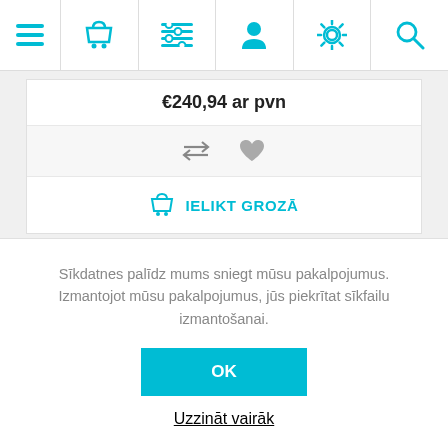[Figure (screenshot): Navigation bar with icons: hamburger menu, shopping basket, list/filter, person, settings gear, search magnifier]
€240,94 ar pvn
[Figure (other): Compare arrows icon and heart/favorite icon]
IELIKT GROZĀ
Sīkdatnes palīdz mums sniegt mūsu pakalpojumus. Izmantojot mūsu pakalpojumus, jūs piekrītat sīkfailu izmantošanai.
OK
Uzzināt vairāk